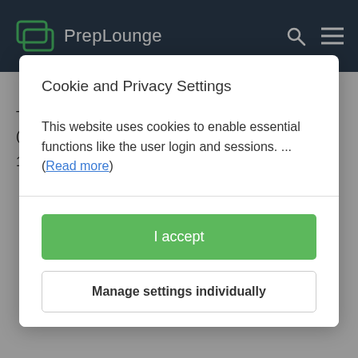[Figure (screenshot): PrepLounge website navigation bar with logo (chat bubble icon and 'PrepLounge' text), search icon, and hamburger menu icon on dark navy background]
provide a recommendation
The main differences compared to the previous version (BCG Potential Test) are the following:
1. 8-10 questions instead of 23
Cookie and Privacy Settings
This website uses cookies to enable essential functions like the user login and sessions. ... (Read more)
I accept
Manage settings individually